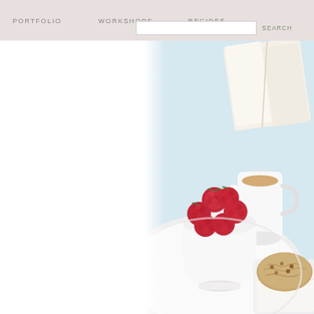PORTFOLIO   WORKSHOPS   RECIPES   SEARCH
[Figure (photo): Food photography showing a white plate with a small white cup filled with fresh red raspberries, a white ceramic creamer/pitcher with amber liquid (tea or syrup), a partially visible scone or muffin in white paper on a light blue surface, and pink flowers blurred in the background. Overhead/close-up shot with soft natural lighting.]